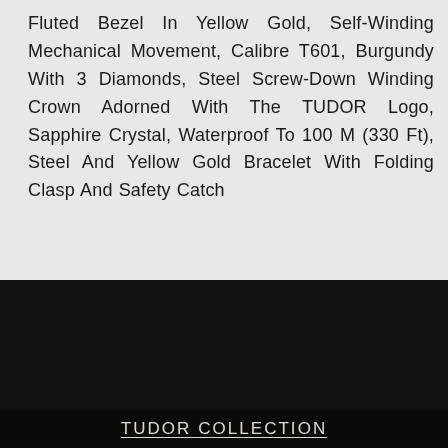Fluted Bezel In Yellow Gold, Self-Winding Mechanical Movement, Calibre T601, Burgundy With 3 Diamonds, Steel Screw-Down Winding Crown Adorned With The TUDOR Logo, Sapphire Crystal, Waterproof To 100 M (330 Ft), Steel And Yellow Gold Bracelet With Folding Clasp And Safety Catch
[Figure (photo): Dark/black section with no visible content, likely a watch image area]
TUDOR COLLECTION